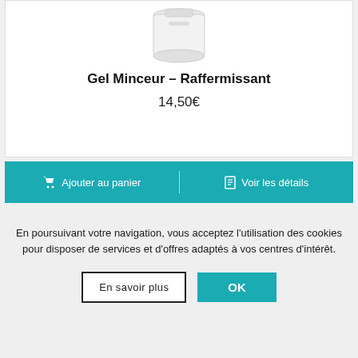[Figure (photo): White cylindrical cream/gel container, partially visible at top of page]
Gel Minceur – Raffermissant
14,50€
🛒 Ajouter au panier | 📋 Voir les détails
[Figure (photo): Second product: white stick applicator and dark red/burgundy box labeled MINCEUR HUILE DE SOIN]
En poursuivant votre navigation, vous acceptez l'utilisation des cookies pour disposer de services et d'offres adaptés à vos centres d'intérêt.
En savoir plus
OK